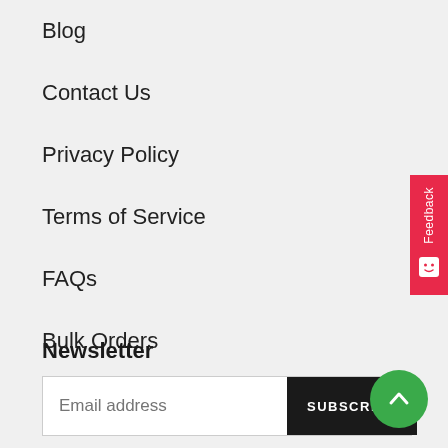Blog
Contact Us
Privacy Policy
Terms of Service
FAQs
Bulk Orders
Newsletter
Email address
SUBSCRIBE
[Figure (other): Red feedback tab on right side with vertical text 'Feedback' and a smiley icon]
[Figure (other): Green circular scroll-to-top button with an upward chevron arrow]